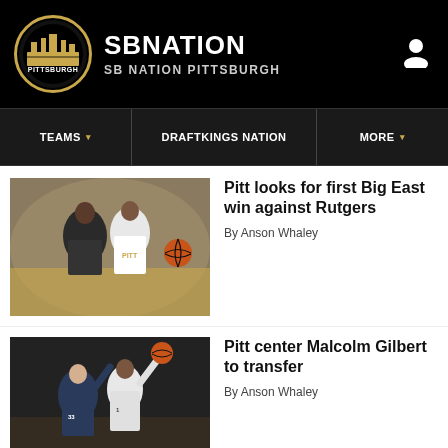SBNATION / SB NATION PITTSBURGH
TEAMS ▾  DRAFTKINGS NATION  MORE ▾
[Figure (photo): Basketball game action photo: Pitt player in white uniform dribbling past a defender in dark uniform]
Pitt looks for first Big East win against Rutgers
By Anson Whaley
[Figure (photo): Basketball game photo: player shooting over a defender wearing number 33]
Pitt center Malcolm Gilbert to transfer
By Anson Whaley